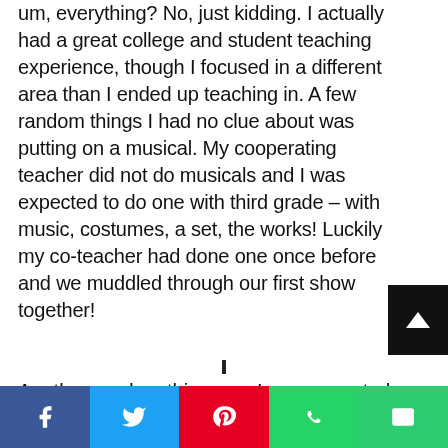um, everything?  No, just kidding.  I actually had a great college and student teaching experience, though I focused in a different area than I ended up teaching in.  A few random things I had no clue about was putting on a musical.  My cooperating teacher did not do musicals and I was expected to do one with third grade – with music, costumes, a set, the works!  Luckily my co-teacher had done one once before and we muddled through our first show together!
Another random thing was I was expected to be the sound system expert at my school.  I was supposed
[Figure (other): Social share bar with Facebook, Twitter, Pinterest, WhatsApp, and Email buttons at the bottom of the page]